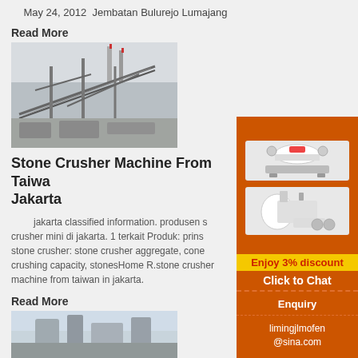May 24, 2012  Jembatan Bulurejo Lumajang
Read More
[Figure (photo): Industrial stone crusher machinery at a construction site with conveyor belts and industrial structures in background]
Stone Crusher Machine From Taiwan Jakarta
jakarta classified information. produsen stone crusher mini di jakarta. 1 terkait Produk: prinsip stone crusher: stone crusher aggregate, cone crushing capacity, stonesHome R.stone crusher machine from taiwan in jakarta.
Read More
[Figure (photo): Industrial dust collector or mill equipment at a facility]
[Figure (infographic): Orange sidebar advertisement showing crusher machines, Enjoy 3% discount, Click to Chat button, Enquiry section, and limingjlmofen@sina.com contact email]